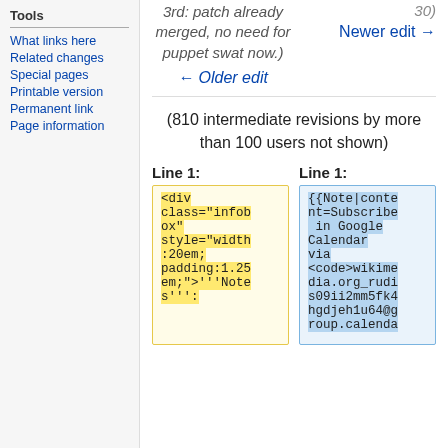Tools
What links here
Related changes
Special pages
Printable version
Permanent link
Page information
3rd: patch already merged, no need for puppet swat now.)
30)
Newer edit →
← Older edit
(810 intermediate revisions by more than 100 users not shown)
Line 1:
Line 1:
[Figure (screenshot): Diff view showing two code columns: left column (yellow background) shows HTML code: <div class="infobox" style="width:20em;padding:1.25em;">'''Notes''': and right column (blue background) shows wiki markup: {{Note|content=Subscribe in Google Calendar via <code>wikimedia.org_rudis09ii2mm5fk4hgdjeh1u64@group.calenda]